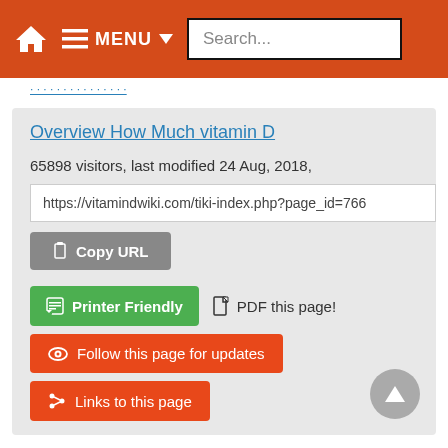MENU Search...
Overview How Much vitamin D
65898 visitors, last modified 24 Aug, 2018,
https://vitamindwiki.com/tiki-index.php?page_id=766
Copy URL
Printer Friendly
PDF this page!
Follow this page for updates
Links to this page
This page is in the following categories (# of items in each category)